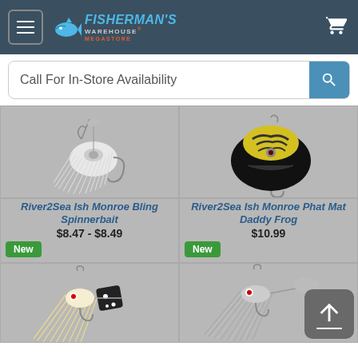Fisherman's Warehouse Megastore
Call For In-Store Availability
[Figure (photo): White rubber skirt spinnerbait fishing lure with silver blade and hook]
River2Sea Ish Monroe Bling Spinnerbait
$8.47 - $8.49
New
[Figure (photo): Black and yellow frog soft plastic fishing lure (Phat Mat Daddy Frog)]
River2Sea Ish Monroe Phat Mat Daddy Frog
$10.99
New
[Figure (photo): Tan/white rubber skirt chatter bait with black diamond blade fishing lure]
[Figure (photo): Metallic silver chatter/buzz bait fishing lure with red eye]